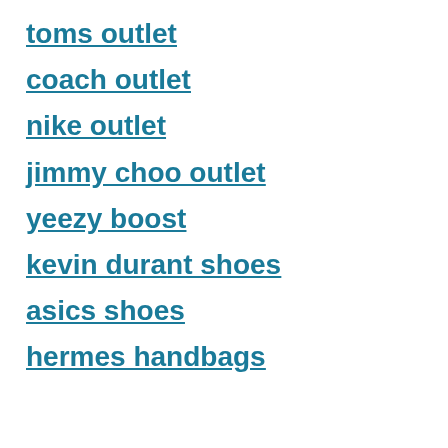toms outlet
coach outlet
nike outlet
jimmy choo outlet
yeezy boost
kevin durant shoes
asics shoes
hermes handbags